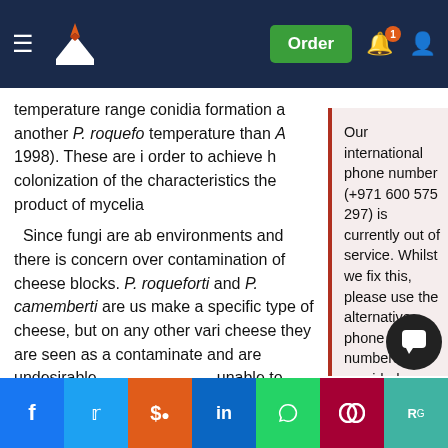Navigation bar with logo, Order button, notification and user icons
temperature range conidia formation a another P. roquefo temperature than A 1998). These are i order to achieve h colonization of the characteristics the product of mycelia
[Figure (screenshot): Popup notification box with red left border on light pink background. Text reads: Our international phone number (+971 600 575 297) is currently out of service. Whilst we fix this, please use the alternative phone numbers provided on the contact page, message through your customer account or click the WhatsApp button from your mobile (Monday – Friday 9am – 5pm, Saturday 10am – 6pm UK time). August 20, 2022]
Since fungi are ab environments and there is concern over contamination of cheese blocks. P. roqueforti and P. camemberti are us make a specific type of cheese, but on any other vari cheese they are seen as a contaminate and are undesirable unable to survive in other environment other than cheese blocks, this
[Figure (screenshot): Social media share bar at bottom with Facebook, Twitter, Reddit, LinkedIn, WhatsApp, Mendeley, ResearchGate buttons]